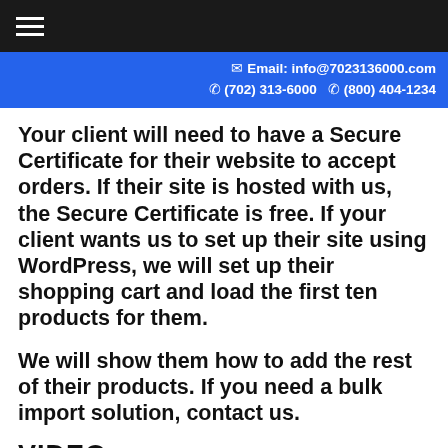≡
Email: info@7023136000.com  (702) 313-6000  (800) 404-1234
Your client will need to have a Secure Certificate for their website to accept orders. If their site is hosted with us, the Secure Certificate is free. If your client wants us to set up their site using WordPress, we will set up their shopping cart and load the first ten products for them.
We will show them how to add the rest of their products. If you need a bulk import solution, contact us.
VIDEO